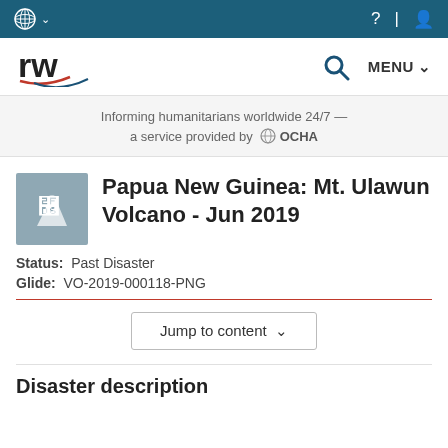UN globe icon / nav bar
[Figure (logo): ReliefWeb (rw) logo with red/blue swoosh]
Informing humanitarians worldwide 24/7 — a service provided by OCHA
Papua New Guinea: Mt. Ulawun Volcano - Jun 2019
Status: Past Disaster
Glide: VO-2019-000118-PNG
Jump to content
Disaster description